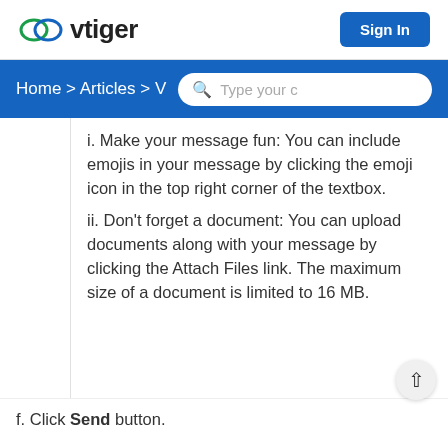[Figure (logo): vtiger logo with cloud icon and 'vtiger' text, and Sign In button]
Home > Articles > V   [search box: Type your c]
i. Make your message fun: You can include emojis in your message by clicking the emoji icon in the top right corner of the textbox.
ii. Don't forget a document: You can upload documents along with your message by clicking the Attach Files link. The maximum size of a document is limited to 16 MB.
f. Click Send button.